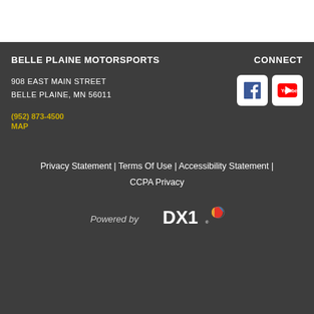BELLE PLAINE MOTORSPORTS
908 EAST MAIN STREET
BELLE PLAINE, MN 56011
(952) 873-4500
MAP
CONNECT
[Figure (logo): Facebook icon - white F on white rounded square background]
[Figure (logo): YouTube icon - white play button on white rounded square background]
Privacy Statement | Terms Of Use | Accessibility Statement | CCPA Privacy
[Figure (logo): Powered by DX1 logo with colorful globe icon]